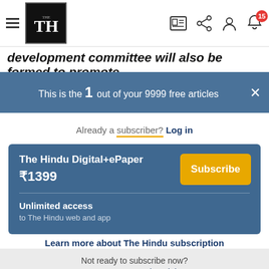The Hindu - Navigation bar with logo, hamburger menu, and icons
development committee will also be formed to promote
This is the 1 out of your 9999 free articles
Already a subscriber? Log in
The Hindu Digital+ePaper ₹1399 Subscribe Unlimited access to The Hindu web and app
Learn more about The Hindu subscription
Not ready to subscribe now? Try out our 14 day trial